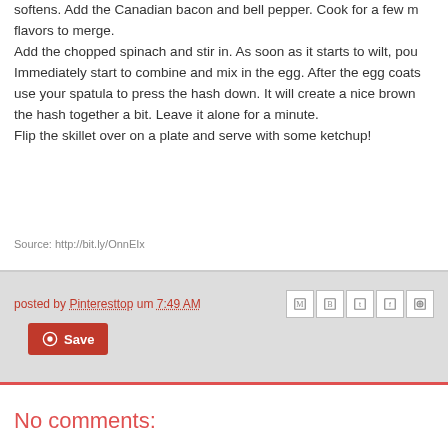softens. Add the Canadian bacon and bell pepper. Cook for a few m flavors to merge.
Add the chopped spinach and stir in. As soon as it starts to wilt, pou Immediately start to combine and mix in the egg. After the egg coats use your spatula to press the hash down. It will create a nice brown the hash together a bit. Leave it alone for a minute.
Flip the skillet over on a plate and serve with some ketchup!
Source: http://bit.ly/OnnEIx
posted by Pinteresttop um 7:49 AM
No comments:
Post a Comment
To leave a comment, click the button below to sign in wi
SIGN IN WITH GOOGLE